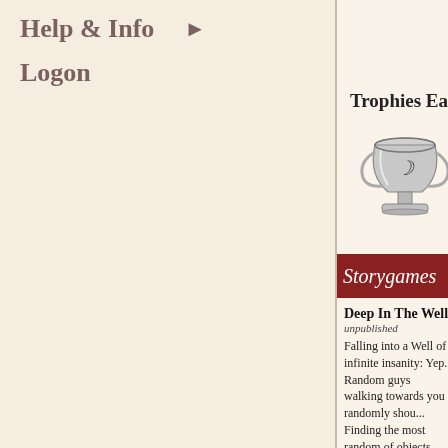Help & Info ▶
Logon
Trophies Earned
[Figure (illustration): A silver trophy cup with a crescent moon logo on it]
Storygames
Deep In The Well
unpublished
Falling into a Well of infinite insanity: Yep. Random guys walking towards you randomly shou... Finding the most random of objects falling with wit...

After an incredibly long camping weekend with you... comfort of the back seat of the car. Heated seats, ... the car you realize a little too late that there is a bo... through it. Now relax as you fall forever in the pit, a...
Love, Sampson.
unpublished
Gone, the girl who you treasured in your heart ha...